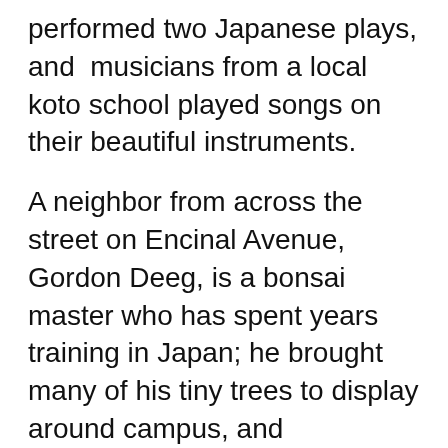performed two Japanese plays, and musicians from a local koto school played songs on their beautiful instruments.
A neighbor from across the street on Encinal Avenue, Gordon Deeg, is a bonsai master who has spent years training in Japan; he brought many of his tiny trees to display around campus, and demonstrated bonsai techniques for the gardening club. Students also visited the pop-up museum, learned origami, and wrote their names in hiragana.
“I picked Japan at the end of last school year because I’m half Japanese, but as it turns out, Encinal has at least seven families from Japan this year – totally serendipitous – and they all pitched in and helped organize,” emailed Emily